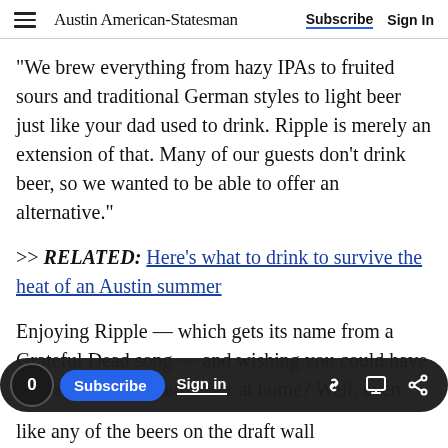Austin American-Statesman — Subscribe  Sign In
"We brew everything from hazy IPAs to fruited sours and traditional German styles to light beer just like your dad used to drink. Ripple is merely an extension of that. Many of our guests don't drink beer, so we wanted to be able to offer an alternative."
>> RELATED: Here's what to drink to survive the heat of an Austin summer
Enjoying Ripple — which gets its name from a Grateful Dead song — and wishing you could have the refreshing spiked water at home? Well, even
like any of the beers on the draft wall